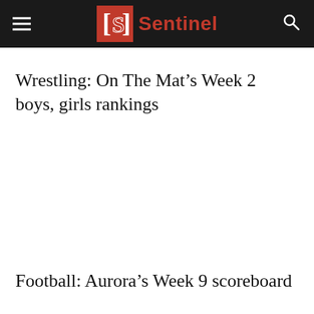Sentinel
Wrestling: On The Mat's Week 2 boys, girls rankings
Football: Aurora's Week 9 scoreboard